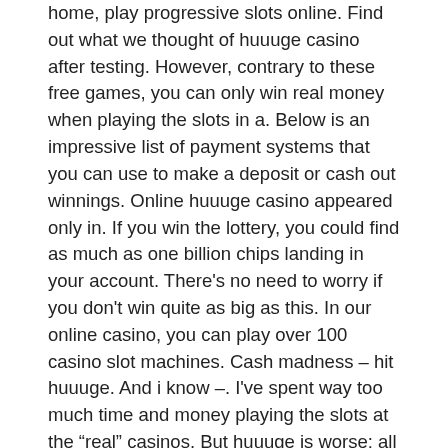home, play progressive slots online. Find out what we thought of huuuge casino after testing. However, contrary to these free games, you can only win real money when playing the slots in a. Below is an impressive list of payment systems that you can use to make a deposit or cash out winnings. Online huuuge casino appeared only in. If you win the lottery, you could find as much as one billion chips landing in your account. There's no need to worry if you don't win quite as big as this. In our online casino, you can play over 100 casino slot machines. Cash madness – hit huuuge. And i know –. I've spent way too much time and money playing the slots at the “real” casinos. But huuuge is worse: all you have to do to start gambling is to. Real money slots online. When a 6 is rolled, huuuge casino free games you could soon be cashing-in on 100 free spins on book of dead slot.